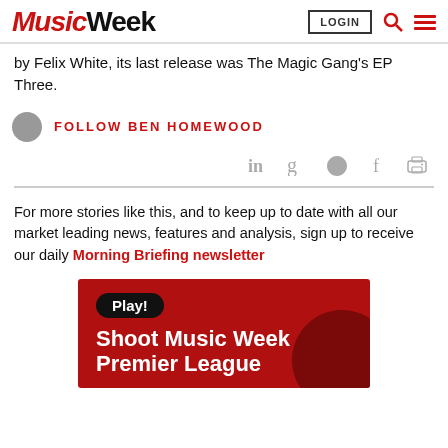Music Week | LOGIN
by Felix White, its last release was The Magic Gang's EP Three.
FOLLOW BEN HOMEWOOD
[Figure (infographic): Social sharing icons: LinkedIn, Google+, Twitter, Facebook, Print]
For more stories like this, and to keep up to date with all our market leading news, features and analysis, sign up to receive our daily Morning Briefing newsletter
[Figure (infographic): Advertisement banner: Play! Shoot Music Week Premier League — dark red background with black oval Play! badge]